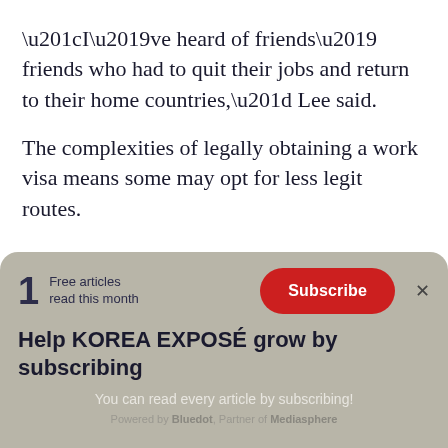“I’ve heard of friends’ friends who had to quit their jobs and return to their home countries,” Lee said.
The complexities of legally obtaining a work visa means some may opt for less legit routes.
[Figure (other): Paywall subscription banner with '1 Free articles read this month', a red Subscribe button, headline 'Help KOREA EXPOSÉ grow by subscribing', subtext 'You can read every article by subscribing!', and 'Powered by Bluedot, Partner of Mediasphere' footer.]